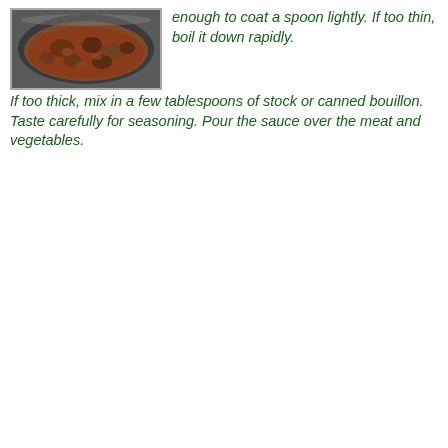[Figure (photo): A photo of a pot or pan containing a brown stew or braised meat dish with sauce and chunks of meat and vegetables.]
enough to coat a spoon lightly. If too thin, boil it down rapidly. If too thick, mix in a few tablespoons of stock or canned bouillon. Taste carefully for seasoning. Pour the sauce over the meat and vegetables.